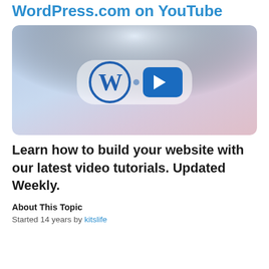WordPress.com on YouTube
[Figure (illustration): Thumbnail image with blue-to-pink gradient background showing the WordPress logo (W in a circle) and a YouTube play button icon side by side inside a rounded rectangle.]
Learn how to build your website with our latest video tutorials. Updated Weekly.
About This Topic
Started 14 years by kitslife